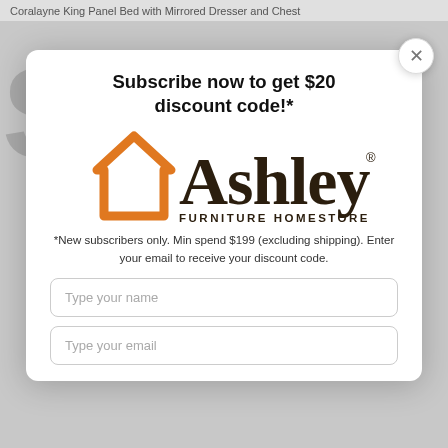Coralayne King Panel Bed with Mirrored Dresser and Chest
Subscribe now to get $20 discount code!*
[Figure (logo): Ashley Furniture HomeStore logo with orange house outline icon and dark brown text]
*New subscribers only. Min spend $199 (excluding shipping). Enter your email to receive your discount code.
Type your name
Type your email